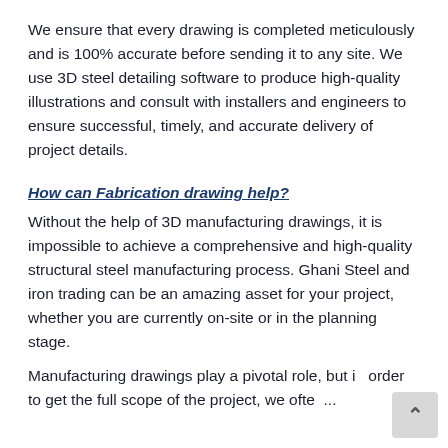We ensure that every drawing is completed meticulously and is 100% accurate before sending it to any site. We use 3D steel detailing software to produce high-quality illustrations and consult with installers and engineers to ensure successful, timely, and accurate delivery of project details.
How can Fabrication drawing help?
Without the help of 3D manufacturing drawings, it is impossible to achieve a comprehensive and high-quality structural steel manufacturing process. Ghani Steel and iron trading can be an amazing asset for your project, whether you are currently on-site or in the planning stage.
Manufacturing drawings play a pivotal role, but in order to get the full scope of the project, we ofte...